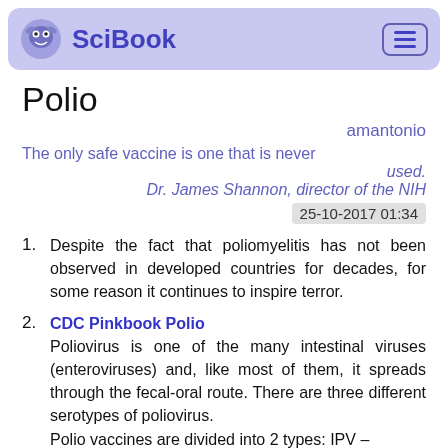SciBook
Polio
amantonio
The only safe vaccine is one that is never used.
Dr. James Shannon, director of the NIH
25-10-2017 01:34
Despite the fact that poliomyelitis has not been observed in developed countries for decades, for some reason it continues to inspire terror.
CDC Pinkbook Polio
Poliovirus is one of the many intestinal viruses (enteroviruses) and, like most of them, it spreads through the fecal-oral route. There are three different serotypes of poliovirus.
Polio vaccines are divided into 2 types: IPV –